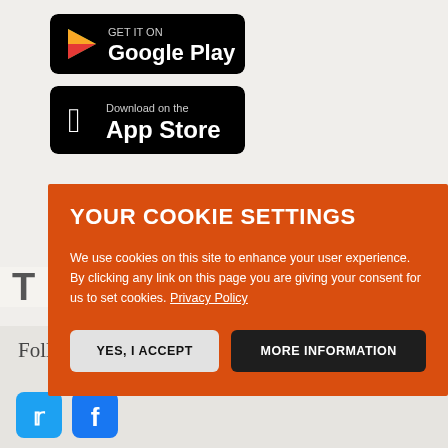[Figure (screenshot): Google Play store download button (black rounded rectangle with Play triangle icon and 'GET IT ON Google Play' text)]
[Figure (screenshot): Apple App Store download button (black rounded rectangle with Apple logo and 'Download on the App Store' text)]
YOUR COOKIE SETTINGS
We use cookies on this site to enhance your user experience. By clicking any link on this page you are giving your consent for us to set cookies. Privacy Policy
YES, I ACCEPT
MORE INFORMATION
Follow ROF
About Us
Privacy Policy
Terms of Use
Advertising